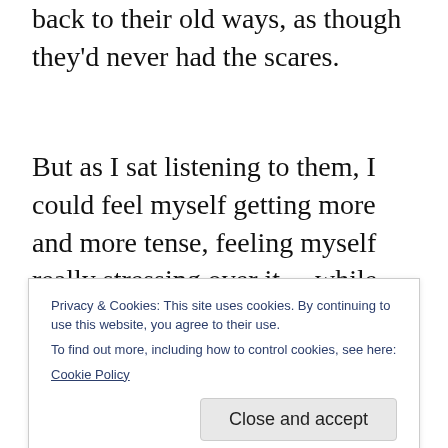back to their old ways, as though they'd never had the scares.
But as I sat listening to them, I could feel myself getting more and more tense, feeling myself really stressing over it… while they just carried on talking about things as happy as a clam. And when I said something about being
Privacy & Cookies: This site uses cookies. By continuing to use this website, you agree to their use.
To find out more, including how to control cookies, see here: Cookie Policy
heart was starting to pound. I was starting to